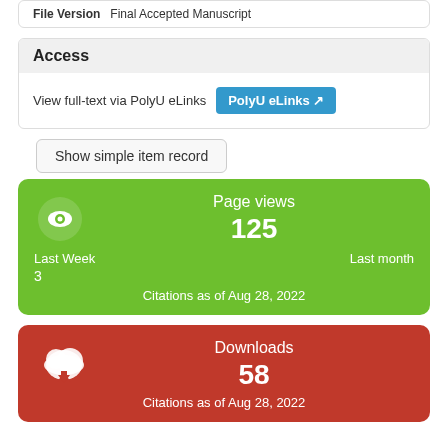File Version: Final Accepted Manuscript
Access
View full-text via PolyU eLinks  [PolyU eLinks]
Show simple item record
[Figure (infographic): Green card showing Page views: 125, Last Week 3, Last month, Citations as of Aug 28, 2022]
[Figure (infographic): Red card showing Downloads: 58, Citations as of Aug 28, 2022]